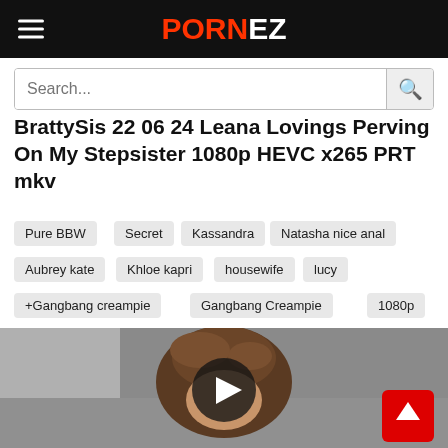PORNEZ
Search...
BrattySis 22 06 24 Leana Lovings Perving On My Stepsister 1080p HEVC x265 PRT mkv
Pure BBW
Secret
Kassandra
Natasha nice anal
Aubrey kate
Khloe kapri
housewife
lucy
+Gangbang creampie
Gangbang Creampie
1080p
[Figure (screenshot): Video thumbnail showing a person with brown hair viewed from above, with a circular play button overlay and a red scroll-to-top button in the bottom right corner.]